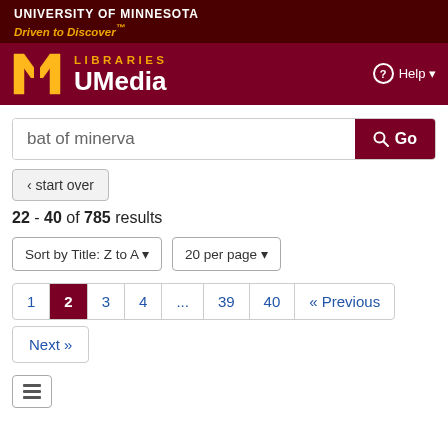UNIVERSITY OF MINNESOTA
Driven to Discover™
[Figure (logo): University of Minnesota Libraries UMedia logo with gold M block letter and Help button]
[Figure (screenshot): Search box with text 'bat of minerva' and Go button]
< start over
22 - 40 of 785 results
Sort by Title: Z to A ▼   20 per page ▼
1  2  3  4  ...  39  40  « Previous
Next »